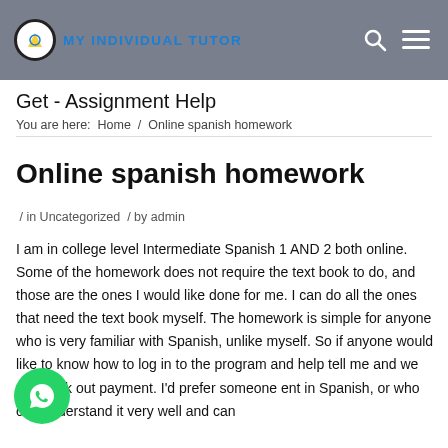MY INDIVIDUAL TUTOR
Get - Assignment Help
You are here:  Home  /  Online spanish homework
Online spanish homework
/ in Uncategorized / by admin
I am in college level Intermediate Spanish 1 AND 2 both online. Some of the homework does not require the text book to do, and those are the ones I would like done for me. I can do all the ones that need the text book myself. The homework is simple for anyone who is very familiar with Spanish, unlike myself. So if anyone would like to know how to log in to the program and help tell me and we can work out payment. I'd prefer someone ent in Spanish, or who can understand it very well and can